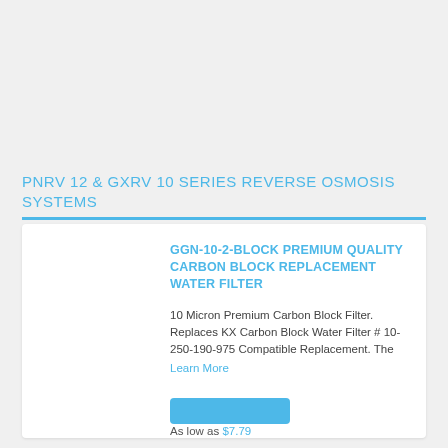PNRV 12 & GXRV 10 SERIES REVERSE OSMOSIS SYSTEMS
GGN-10-2-BLOCK PREMIUM QUALITY CARBON BLOCK REPLACEMENT WATER FILTER
10 Micron Premium Carbon Block Filter. Replaces KX Carbon Block Water Filter # 10-250-190-975 Compatible Replacement. The
Learn More
$12.99 $9.99
As low as $7.79